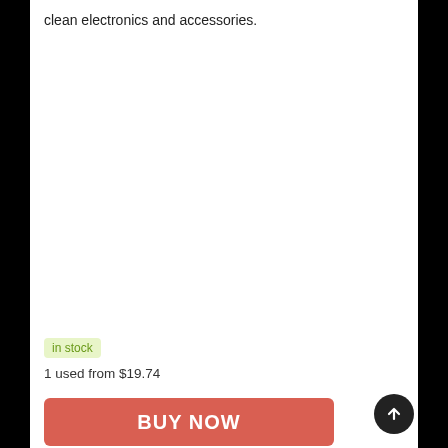clean electronics and accessories.
in stock
1 used from $19.74
BUY NOW